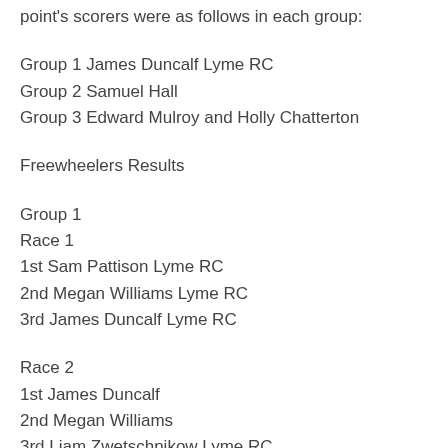point's scorers were as follows in each group:
Group 1 James Duncalf Lyme RC
Group 2 Samuel Hall
Group 3 Edward Mulroy and Holly Chatterton
Freewheelers Results
Group 1
Race 1
1st Sam Pattison Lyme RC
2nd Megan Williams Lyme RC
3rd James Duncalf Lyme RC
Race 2
1st James Duncalf
2nd Megan Williams
3rd Liam Zwetschnikow Lyme RC
Race 3